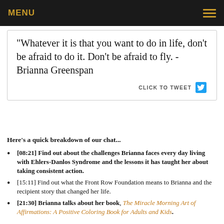MENU
"Whatever it is that you want to do in life, don't be afraid to do it. Don't be afraid to fly. - Brianna Greenspan   CLICK TO TWEET
Here's a quick breakdown of our chat...
[08:21] Find out about the challenges Brianna faces every day living with Ehlers-Danlos Syndrome and the lessons it has taught her about taking consistent action.
[15:11] Find out what the Front Row Foundation means to Brianna and the recipient story that changed her life.
[21:30] Brianna talks about her book, The Miracle Morning Art of Affirmations: A Positive Coloring Book for Adults and Kids.